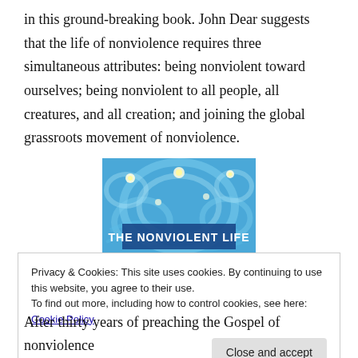in this ground-breaking book. John Dear suggests that the life of nonviolence requires three simultaneous attributes: being nonviolent toward ourselves; being nonviolent to all people, all creatures, and all creation; and joining the global grassroots movement of nonviolence.
[Figure (illustration): Book cover for 'The Nonviolent Life' — a Starry Night-style swirling blue sky with a dark blue banner reading 'THE NONVIOLENT LIFE' in white text, and red/purple hills at the bottom.]
Privacy & Cookies: This site uses cookies. By continuing to use this website, you agree to their use.
To find out more, including how to control cookies, see here: Cookie Policy
After thirty years of preaching the Gospel of nonviolence